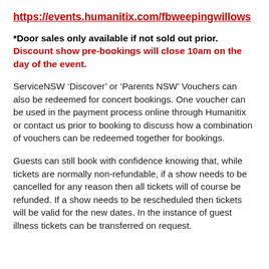https://events.humanitix.com/fbweepingwillows
*Door sales only available if not sold out prior. Discount show pre-bookings will close 10am on the day of the event.
ServiceNSW ‘Discover’ or ‘Parents NSW’ Vouchers can also be redeemed for concert bookings. One voucher can be used in the payment process online through Humanitix or contact us prior to booking to discuss how a combination of vouchers can be redeemed together for bookings.
Guests can still book with confidence knowing that, while tickets are normally non-refundable, if a show needs to be cancelled for any reason then all tickets will of course be refunded. If a show needs to be rescheduled then tickets will be valid for the new dates. In the instance of guest illness tickets can be transferred on request.